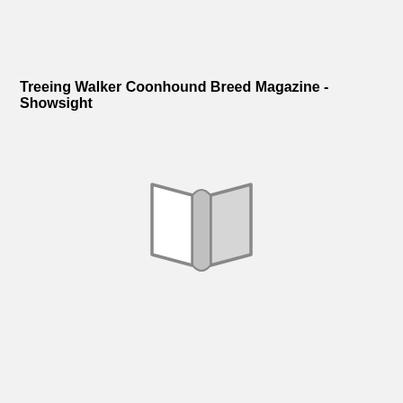Treeing Walker Coonhound Breed Magazine - Showsight
[Figure (illustration): An open book icon outline rendered in gray, showing two splayed pages with a folded binding in the center, styled as a placeholder or missing-content icon.]